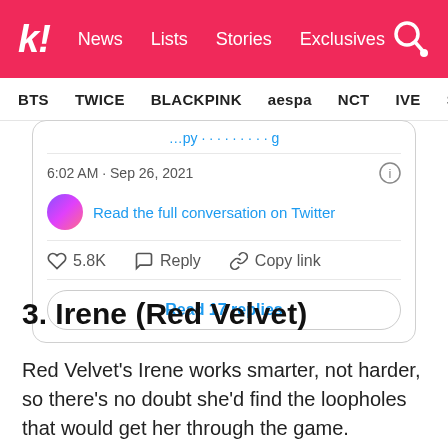k! News  Lists  Stories  Exclusives
BTS  TWICE  BLACKPINK  aespa  NCT  IVE  SHIN…
[Figure (screenshot): Embedded tweet card showing partial tweet text (truncated), timestamp 6:02 AM · Sep 26, 2021, a link 'Read the full conversation on Twitter', action icons with 5.8K likes, Reply, Copy link, and a 'Read 17 replies' button]
3. Irene (Red Velvet)
Red Velvet's Irene works smarter, not harder, so there's no doubt she'd find the loopholes that would get her through the game.